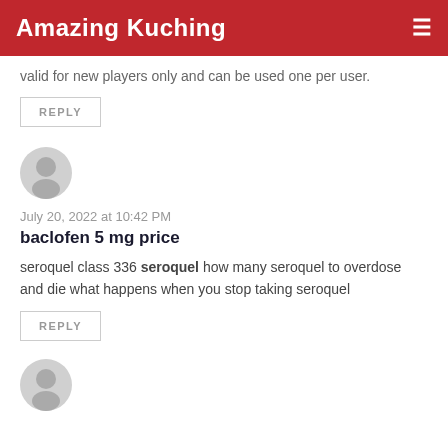Amazing Kuching
valid for new players only and can be used one per user.
REPLY
July 20, 2022 at 10:42 PM
baclofen 5 mg price
seroquel class 336 seroquel how many seroquel to overdose and die what happens when you stop taking seroquel
REPLY